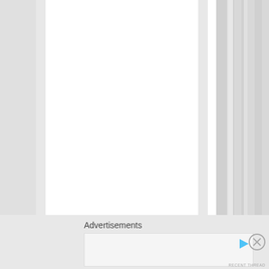[Figure (other): Vertical striped column layout with vertical text reading 'hen...,'sadly they c' running top to bottom in one of the white columns]
Advertisements
[Figure (other): Advertisement box with play button icon]
[Figure (other): Close (X) button circle icon]
RECENT THREAD